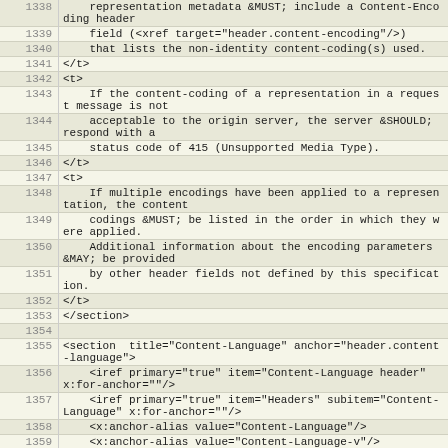| Line | Code |
| --- | --- |
| 1338 |     representation metadata &MUST; include a Content-
Encoding header |
| 1339 |     field (<xref target="header.content-encoding"/>) |
| 1340 |     that lists the non-identity content-coding(s) used. |
| 1341 | </t> |
| 1342 | <t> |
| 1343 |     If the content-coding of a representation in a
request message is not |
| 1344 |     acceptable to the origin server, the server &SHOULD;
respond with a |
| 1345 |     status code of 415 (Unsupported Media Type). |
| 1346 | </t> |
| 1347 | <t> |
| 1348 |     If multiple encodings have been applied to a
representation, the content |
| 1349 |     codings &MUST; be listed in the order in which they
were applied. |
| 1350 |     Additional information about the encoding parameters
&MAY; be provided |
| 1351 |     by other header fields not defined by this
specification. |
| 1352 | </t> |
| 1353 | </section> |
| 1354 |  |
| 1355 | <section  title="Content-Language"
anchor="header.content-language"> |
| 1356 |     <iref primary="true" item="Content-Language header"
x:for-anchor=""/> |
| 1357 |     <iref primary="true" item="Headers" subitem="Content-
Language" x:for-anchor=""/> |
| 1358 |     <x:anchor-alias value="Content-Language"/> |
| 1359 |     <x:anchor-alias value="Content-Language-v"/> |
| 1360 | <t> |
| 1361 |     The "Content-Language" entity-header field describes |